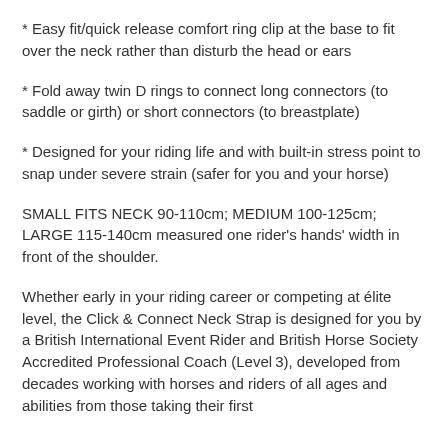* Easy fit/quick release comfort ring clip at the base to fit over the neck rather than disturb the head or ears
* Fold away twin D rings to connect long connectors (to saddle or girth) or short connectors (to breastplate)
* Designed for your riding life and with built-in stress point to snap under severe strain (safer for you and your horse)
SMALL FITS NECK 90-110cm; MEDIUM 100-125cm; LARGE 115-140cm measured one rider's hands' width in front of the shoulder.
Whether early in your riding career or competing at élite level, the Click & Connect Neck Strap is designed for you by a British International Event Rider and British Horse Society Accredited Professional Coach (Level 3), developed from decades working with horses and riders of all ages and abilities from those taking their first